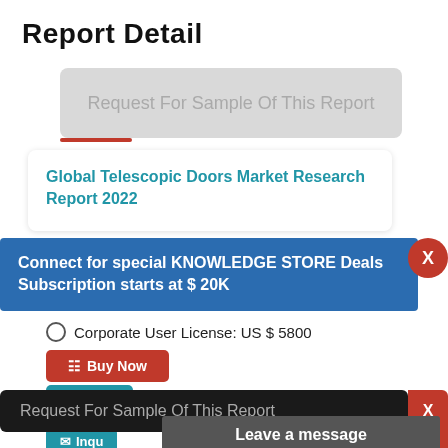Report Detail
Request For Sample Of This Report
Global Telescopic Doors Market Research Report 2022
Connect for special KNOWLEDGE STORE Deals
Subscription starts at $ 20K
Corporate User License: US $ 5800
Buy Now
Like
Request For Sample Of This Report
Buy Any Report Avail 20% Code:
Inqu
Leave a message